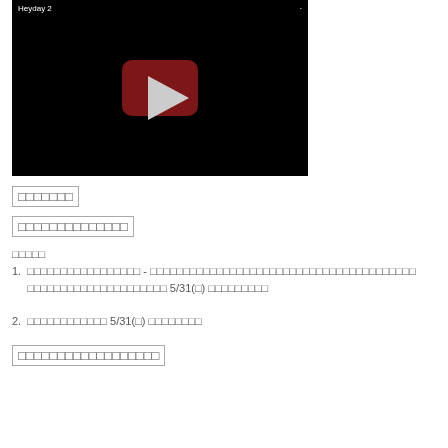[Figure (screenshot): YouTube video thumbnail with black background, white title text 'Heyday 2' at top left and a dot, red YouTube play button in center]
□□□□□□□
□□□□□□□□□□□□□□
□□□□□
1. □□□□□□□□□□□□□□□□□ - □□□□□□□□□□□□□□□□□□□□□□□□□□□□□□□□□□□□□□□□ 5/31(□) □□□□□□□□□
2. □□□□□□□□□□□□ 5/31(□) □□□□□□□□
□□□□□□□□□□□□□□□□□□